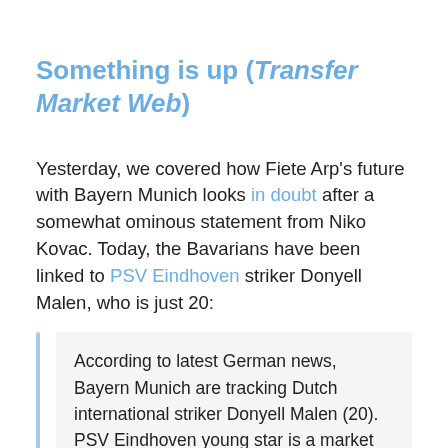Something is up (Transfer Market Web)
Yesterday, we covered how Fiete Arp's future with Bayern Munich looks in doubt after a somewhat ominous statement from Niko Kovac. Today, the Bavarians have been linked to PSV Eindhoven striker Donyell Malen, who is just 20:
According to latest German news, Bayern Munich are tracking Dutch international striker Donyell Malen (20). PSV Eindhoven young star is a market target for Arsenal and Liverpool as well.
Perhaps my tinfoil hat is on a bit too tight after the whole “Thomas Müller is getting forced out” theory, but if I was reading the tea leaves today on Arp’s future, I’d